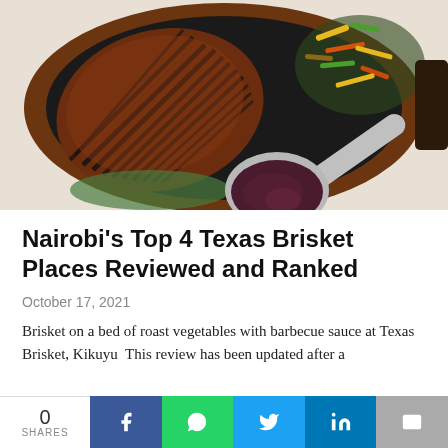[Figure (photo): Sliced Texas brisket on a cast iron pan with roasted vegetables and a spoon of barbecue sauce, viewed from above on a wooden surface]
Nairobi's Top 4 Texas Brisket Places Reviewed and Ranked
October 17, 2021
Brisket on a bed of roast vegetables with barbecue sauce at Texas Brisket, Kikuyu  This review has been updated after a